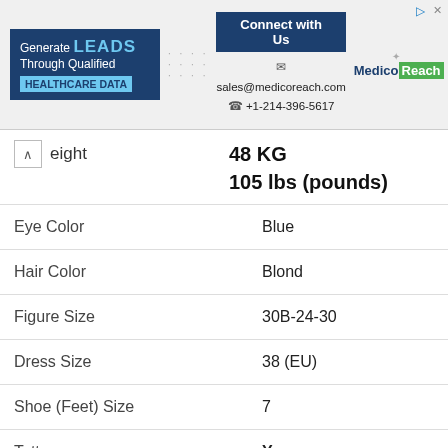[Figure (infographic): MedicoReach advertisement banner with 'Generate LEADS Through Qualified HEALTHCARE DATA' on the left, 'Connect with Us' button in the center with sales@medicoreach.com and +1-214-396-5617 contact info, and MedicoReach logo on the right.]
| Attribute | Value |
| --- | --- |
| Weight | 48 KG
105 lbs (pounds) |
| Eye Color | Blue |
| Hair Color | Blond |
| Figure Size | 30B-24-30 |
| Dress Size | 38 (EU) |
| Shoe (Feet) Size | 7 |
| Tattoos | Yes |
| Distinctive Features | Attractive Figure |